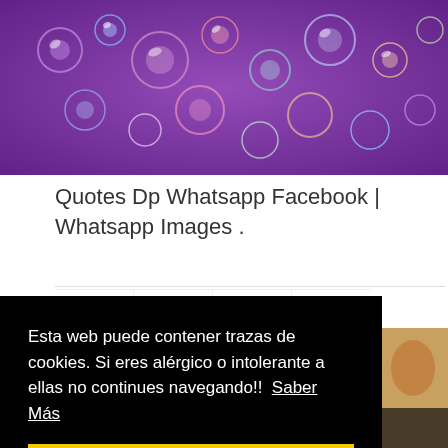[Figure (photo): Purple background with colorful water droplets / bubbles; partial website header image visible at top]
Quotes Dp Whatsapp Facebook | Whatsapp Images .
[Figure (infographic): Row of four social media share buttons: Facebook (blue), Twitter (light blue), WhatsApp (green), Pinterest (red)]
Esta web puede contener trazas de cookies. Si eres alérgico o intolerante a ellas no continues navegando!!  Saber Más
Cerrar
[Figure (photo): Partial bottom image showing a person, partially obscured by the cookie banner]